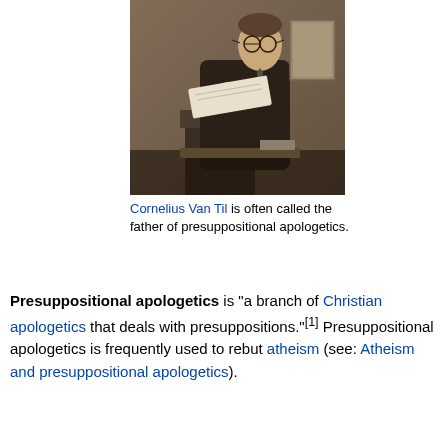[Figure (photo): Black and white / sepia photograph of Cornelius Van Til, a man in a suit and glasses, leaning over a lectern or podium reading from an open book or document.]
Cornelius Van Til is often called the father of presuppositional apologetics.
Presuppositional apologetics is "a branch of Christian apologetics that deals with presuppositions."[1] Presuppositional apologetics is frequently used to rebut atheism (see: Atheism and presuppositional apologetics).